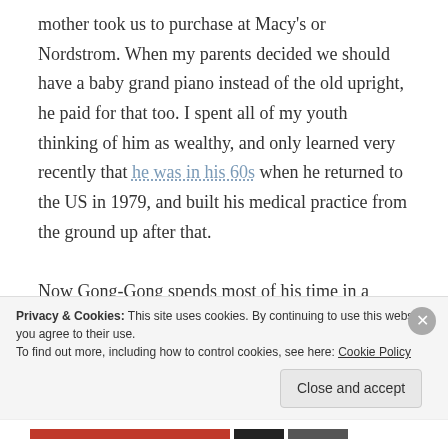mother took us to purchase at Macy's or Nordstrom. When my parents decided we should have a baby grand piano instead of the old upright, he paid for that too. I spent all of my youth thinking of him as wealthy, and only learned very recently that he was in his 60s when he returned to the US in 1979, and built his medical practice from the ground up after that.

Now Gong-Gong spends most of his time in a wheelchair in the Woodlands nursing home in Los...
Privacy & Cookies: This site uses cookies. By continuing to use this website, you agree to their use.
To find out more, including how to control cookies, see here: Cookie Policy
Close and accept